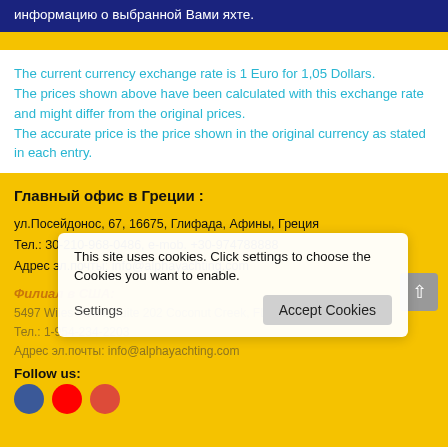информацию о выбранной Вами яхте.
The current currency exchange rate is 1 Euro for 1,05 Dollars. The prices shown above have been calculated with this exchange rate and might differ from the original prices. The accurate price is the price shown in the original currency as stated in each entry.
Главный офис в Греции :
ул.Посейдонос, 67, 16675, Глифада, Афины, Греция
Тел.: 30-210-968-0486, e-mob. +30-974788888
Адрес эл.почты: info@alphayachting.com
Филиал в США:
5497 Wiles Road, Suite 202 Coconut Creek, FL 33073
Тел.: 1-954-234-2203
Адрес эл.почты: info@alphayachting.com
Follow us:
This site uses cookies. Click settings to choose the Cookies you want to enable.